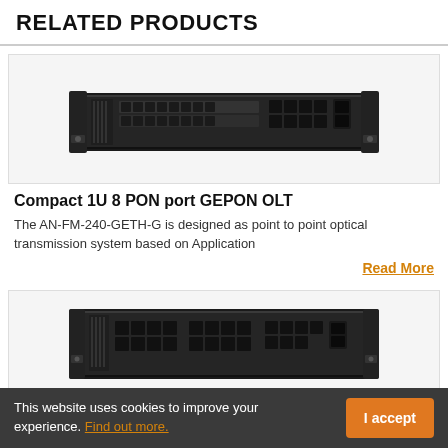RELATED PRODUCTS
[Figure (photo): Compact 1U rack-mounted network switch/OLT device (front view), dark grey/black chassis with multiple SFP ports and RJ45 ports]
Compact 1U 8 PON port GEPON OLT
The AN-FM-240-GETH-G is designed as point to point optical transmission system based on Application
Read More
[Figure (photo): Second rack-mounted 1U network device (front view), black chassis with SFP ports and RJ45 connectors]
This website uses cookies to improve your experience. Find out more.